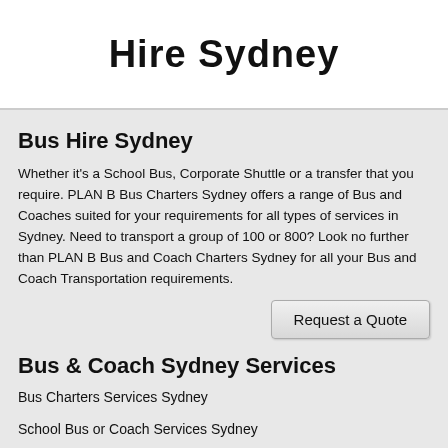Hire Sydney
Bus Hire Sydney
Whether it's a School Bus, Corporate Shuttle or a transfer that you require. PLAN B Bus Charters Sydney offers a range of Bus and Coaches suited for your requirements for all types of services in Sydney. Need to transport a group of 100 or 800? Look no further than PLAN B Bus and Coach Charters Sydney for all your Bus and Coach Transportation requirements.
Request a Quote
Bus & Coach Sydney Services
Bus Charters Services Sydney
School Bus or Coach Services Sydney